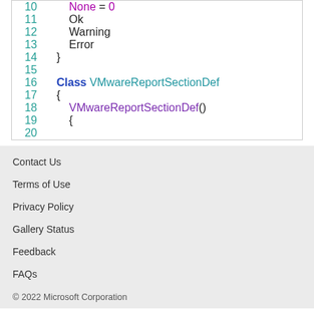[Figure (screenshot): Code snippet showing C# class definitions with line numbers 10-20. Lines show enum values (None=0, Ok, Warning, Error), closing brace, and start of Class VMwareReportSectionDef with constructor.]
Contact Us
Terms of Use
Privacy Policy
Gallery Status
Feedback
FAQs
© 2022 Microsoft Corporation